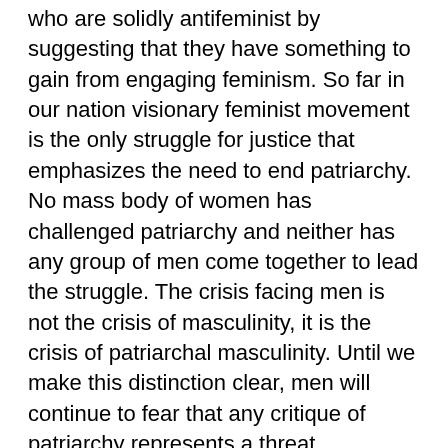who are solidly antifeminist by suggesting that they have something to gain from engaging feminism. So far in our nation visionary feminist movement is the only struggle for justice that emphasizes the need to end patriarchy. No mass body of women has challenged patriarchy and neither has any group of men come together to lead the struggle. The crisis facing men is not the crisis of masculinity, it is the crisis of patriarchal masculinity. Until we make this distinction clear, men will continue to fear that any critique of patriarchy represents a threat. Distinguishing political patriarchy, which he sees as largely committed to ending sexism, therapist Terrence Real makes clear that the patriarchy damaging us all is embedded in our psyches: Psychological patriarchy is the dynamic between those qualities deemed “masculine” and “feminine” in which half of our human traits are exalted while the other half is devalued. Both men and